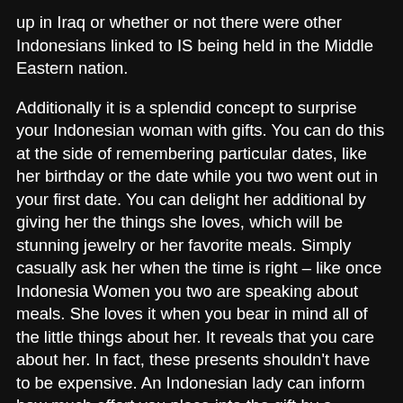up in Iraq or whether or not there were other Indonesians linked to IS being held in the Middle Eastern nation.
Additionally it is a splendid concept to surprise your Indonesian woman with gifts. You can do this at the side of remembering particular dates, like her birthday or the date while you two went out in your first date. You can delight her additional by giving her the things she loves, which will be stunning jewelry or her favorite meals. Simply casually ask her when the time is right – like once Indonesia Women you two are speaking about meals. She loves it when you bear in mind all of the little things about her. It reveals that you care about her. In fact, these presents shouldn't have to be expensive. An Indonesian lady can inform how much effort you place into the gift by a glance. She looks for effort, not essentially cash.
Nonetheless, Indonesian girls stay underneath-represented in legislatures given the speed at which they stand for office. In 2019 a file 3,200 women stood as DPR